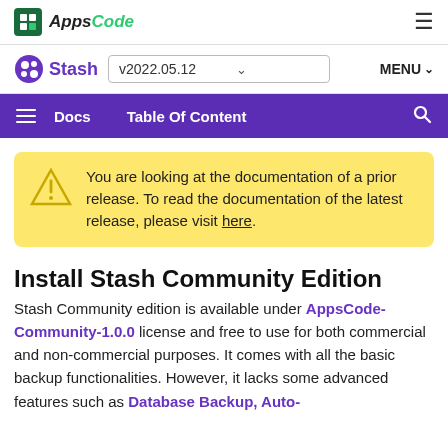AppsCode
Stash v2022.05.12 MENU
Docs Table Of Content
You are looking at the documentation of a prior release. To read the documentation of the latest release, please visit here.
Install Stash Community Edition
Stash Community edition is available under AppsCode-Community-1.0.0 license and free to use for both commercial and non-commercial purposes. It comes with all the basic backup functionalities. However, it lacks some advanced features such as Database Backup, Auto-